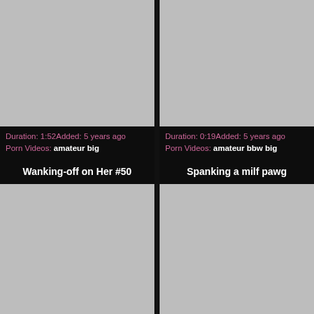[Figure (photo): Gray placeholder thumbnail for video 1 (top left)]
Duration: 1:52Added: 5 years ago
Porn Videos: amateur big
[Figure (photo): Gray placeholder thumbnail for video 2 (top right)]
Duration: 0:19Added: 5 years ago
Porn Videos: amateur bbw big
Wanking-off on Her #50
Spanking a milf pawg
[Figure (photo): Gray placeholder thumbnail for video 3 (bottom left)]
[Figure (photo): Gray placeholder thumbnail for video 4 (bottom right)]